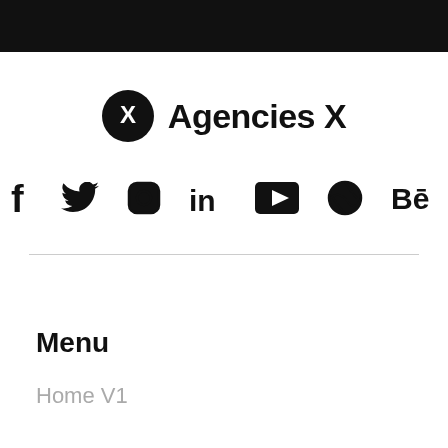[Figure (logo): AgenciesX logo with circular X icon and text 'Agencies X']
[Figure (illustration): Social media icons row: Facebook, Twitter, Instagram, LinkedIn, YouTube, Dribbble, Behance]
Menu
Home V1